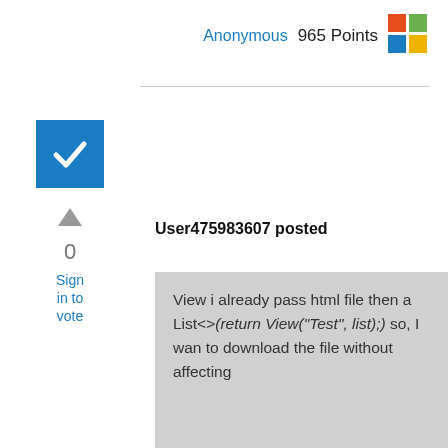Anonymous  965 Points
[Figure (logo): Microsoft Windows 11 logo with four colored squares: red, green (top row), blue, yellow (bottom row)]
[Figure (other): Blue checkbox with white checkmark inside]
0
Sign in to vote
User475983607 posted
View i already pass html file then a List<>(return View("Test", list);) so, I wan to download the file without affecting